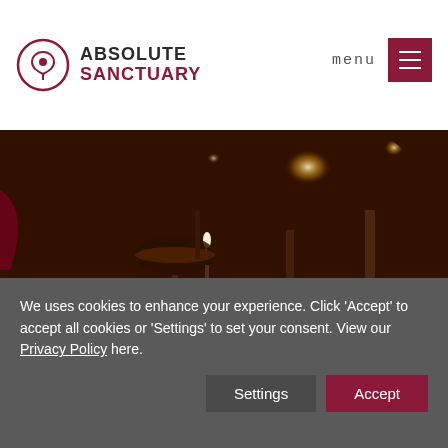ABSOLUTE SANCTUARY | menu
[Figure (photo): Warm amber-toned photo of spa setting at floor level with a small lit candle on a reflective surface, glowing lights in background, and a person's hand/robe partially visible at left edge]
We uses cookies to enhance your experience. Click 'Accept' to accept all cookies or 'Settings' to set your consent. View our Privacy Policy here.
Settings   Accept